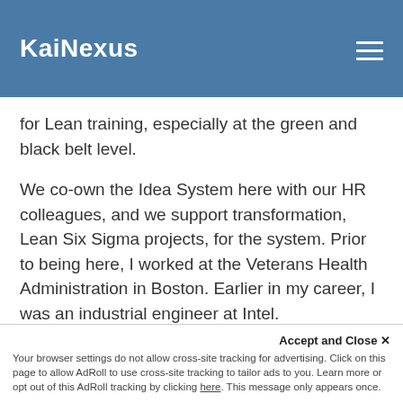KaiNexus
for Lean training, especially at the green and black belt level.
We co-own the Idea System here with our HR colleagues, and we support transformation, Lean Six Sigma projects, for the system. Prior to being here, I worked at the Veterans Health Administration in Boston. Earlier in my career, I was an industrial engineer at Intel.
Mark: I'm biased as an industrial engineer myself that there are transferrable skills, both from industrial
Accept and Close ✕ Your browser settings do not allow cross-site tracking for advertising. Click on this page to allow AdRoll to use cross-site tracking to tailor ads to you. Learn more or opt out of this AdRoll tracking by clicking here. This message only appears once.